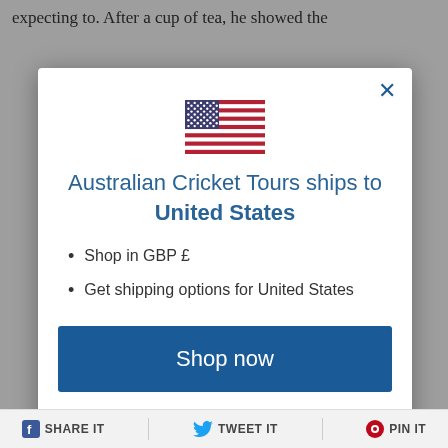expecting to. After a cup of tea, he showed the
[Figure (screenshot): Modal dialog overlay on a website showing US flag, text 'Australian Cricket Tours ships to United States', bullet points, Shop now button, and Change shipping country link]
Australian Cricket Tours ships to United States
Shop in GBP £
Get shipping options for United States
Shop now
Change shipping country
SHARE IT   TWEET IT   PIN IT